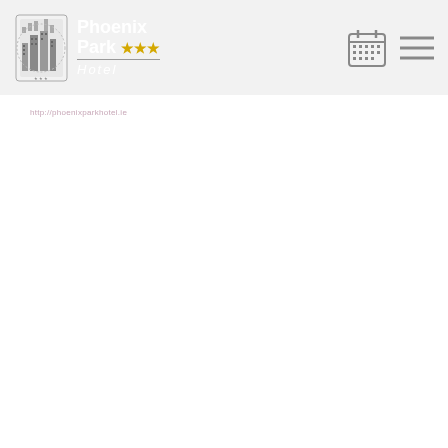[Figure (logo): Phoenix Park Hotel logo with emblem graphic on left and text 'Phoenix Park Hotel' with three stars on right, on a light grey header background, with calendar icon and hamburger menu icon on the far right]
http://phoenixparkhotel.ie